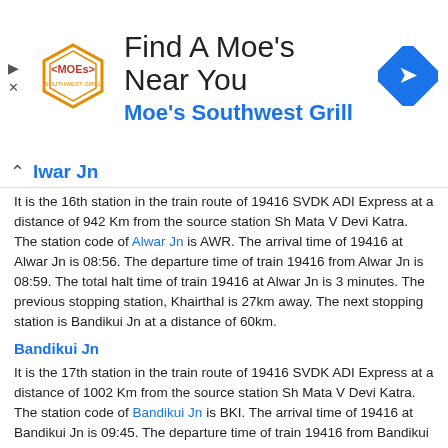[Figure (logo): Moe's Southwest Grill advertisement banner with logo and navigation icon]
Alwar Jn
It is the 16th station in the train route of 19416 SVDK ADI Express at a distance of 942 Km from the source station Sh Mata V Devi Katra. The station code of Alwar Jn is AWR. The arrival time of 19416 at Alwar Jn is 08:56. The departure time of train 19416 from Alwar Jn is 08:59. The total halt time of train 19416 at Alwar Jn is 3 minutes. The previous stopping station, Khairthal is 27km away. The next stopping station is Bandikui Jn at a distance of 60km.
Bandikui Jn
It is the 17th station in the train route of 19416 SVDK ADI Express at a distance of 1002 Km from the source station Sh Mata V Devi Katra. The station code of Bandikui Jn is BKI. The arrival time of 19416 at Bandikui Jn is 09:45. The departure time of train 19416 from Bandikui Jn is 09:47. The total halt time of train 19416 at Bandikui Jn is 2 minutes. The